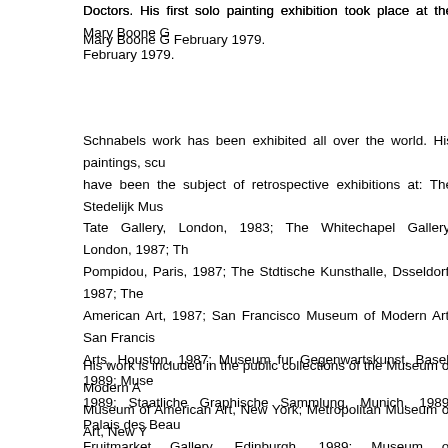Doctors. His first solo painting exhibition took place at the Mary Boone Gallery in February 1979.
Schnabels work has been exhibited all over the world. His paintings, sculptures, and works on paper have been the subject of retrospective exhibitions at: The Stedelijk Museum, Amsterdam, 1982; Tate Gallery, London, 1983; The Whitechapel Gallery, London, 1987; The Centre George Pompidou, Paris, 1987; The Stdtische Kunsthalle, Dsseldorf, 1987; The Whitney Museum of American Art, 1987; San Francisco Museum of Modern Art, San Francisco, 1987; Museum of Fine Arts, Houston, 1987; Museum fur Gegenwartskunst, Basel, 1989; Museo de Arte Contemporaneo, 1989; Staatliche Graphische Sammlung, Munich, 1989; Palais des Beaux-Arts, Brussels, 1989; Fruitmarket Gallery, Edinburgh, 1989; Museum of Contemporary Art, Chicago, 1989; MARCO, Monterrey, Mexico, 1994; The Tamayo Museum, Mexico City, 1994; The Fundacio Joan Miro, Barcelona, 1995; Galleria dArte Moderna di Bologna, Italy, 1996; Schirn Kunsthalle, 1997; Museo Nacional Centro de Arte Reina Sofia, Palacio de Velazquez, Madrid, 2001; Museo dOltremare, Napoli, 2004.
His work is included in the public collections of the Museum of Modern Art, New York; Whitney Museum of American Art, New York; Metropolitan Museum of Art, New York; Museum of Contemporary Art, Los Angeles; The Guggenheim Museums, New York and Bilbao; Centre Pompidou, Paris; Tate Gallery, London; The Metropolitan Museum, Tokyo; Museo Reina Sofia, Madrid; The National Gallery, Washington D.C.; The National Gallery of Canada.